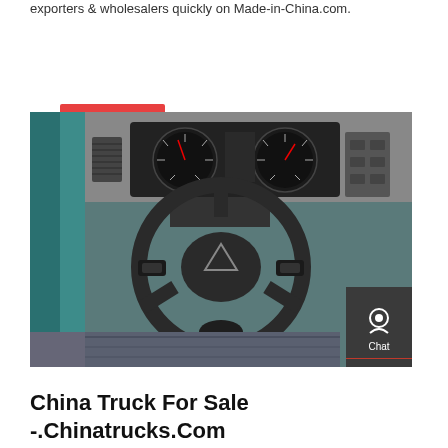exporters & wholesalers quickly on Made-in-China.com.
GET A QUOTE
[Figure (photo): Interior of a truck cab showing a large black steering wheel with a triangular logo emblem, dashboard with instrument cluster/gauges, and teal/green door panel visible on the left side.]
China Truck For Sale -.Chinatrucks.Com